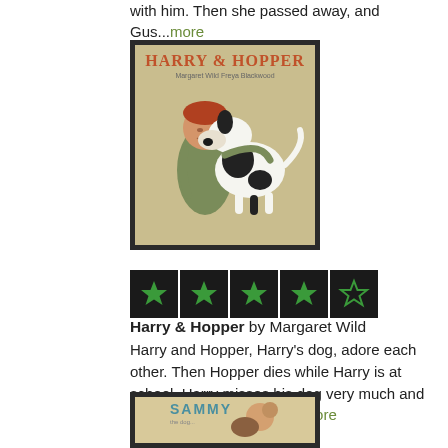with him. Then she passed away, and Gus...more
[Figure (illustration): Book cover of Harry & Hopper showing a boy hugging a black and white dog, illustrated by Freya Blackwood, written by Margaret Wild. Olive/tan background with illustrated figures.]
[Figure (infographic): Star rating: 4 out of 5 stars. Four filled green stars and one empty/outline green star on black background boxes.]
Harry & Hopper by Margaret Wild
Harry and Hopper, Harry's dog, adore each other. Then Hopper dies while Harry is at school. Harry misses his dog very much and wishes he could have to...more
[Figure (illustration): Book cover of Sammy showing a child hugging a dog, tan/cream background, title text SAMMY visible at top.]